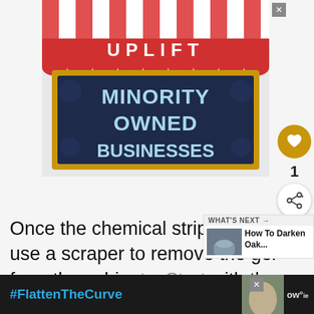[Figure (illustration): Advertisement banner showing a storefront illustration with red and white striped awning, gold frame, and dark navy sign board. White text on awning reads 'UPLIFT'. Large light blue bold text on the sign board reads 'MINORITY OWNED BUSINESSES'.]
Once the chemical stripper gels, use a scraper to remove the gel from the cabinets. Start with the sides of the cabinets and scrape down from
[Figure (infographic): What's Next overlay panel showing a thumbnail image of hands near a faucet and text 'How To Darken Oak...']
[Figure (infographic): Bottom advertisement banner with dark background showing '#FlattenTheCurve' hashtag in blue text and a partial image of someone washing hands, with a small logo on the right.]